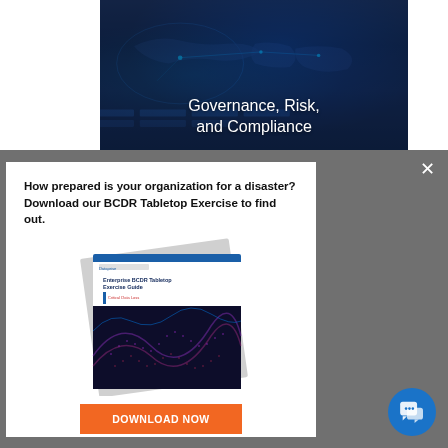[Figure (photo): Dark blue tech background showing a world map with glowing blue network lines and data panels, representing cybersecurity/governance dashboard]
Governance, Risk,
and Compliance
How prepared is your organization for a disaster?
Download our BCDR Tabletop Exercise to find out.
[Figure (photo): Brochure/guide document cover showing 'Enterprise BCDR Tabletop Exercise Guide - Critical Data Loss' with dark wave pattern background]
DOWNLOAD NOW